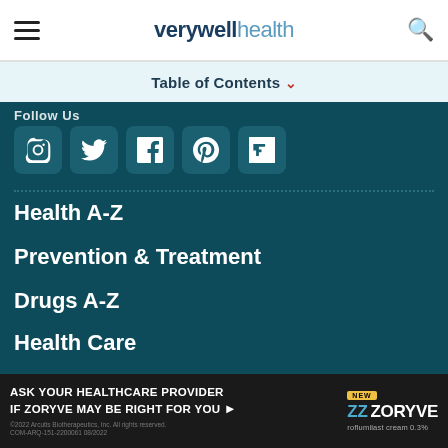verywell health
Table of Contents
Follow Us
[Figure (other): Social media icons row: Instagram, Twitter, Facebook, Pinterest, Flipboard on teal rounded square buttons]
Health A-Z
Prevention & Treatment
Drugs A-Z
Health Care
News
Meet Our Medical Expert    About Us
[Figure (other): Advertisement banner: Ask your healthcare provider if Zoryve may be right for you. Zoryve (roflumilast cream 0.3%) logo shown.]